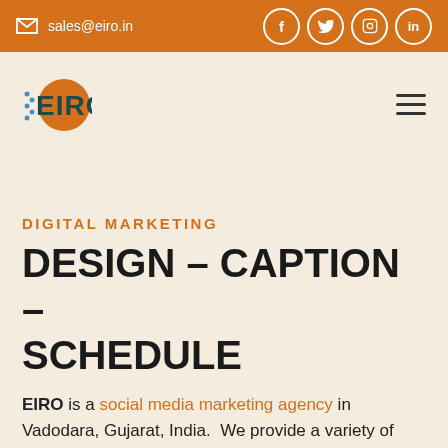sales@eiro.in  [social icons: f, twitter, instagram, linkedin]
[Figure (logo): EIRO company logo with orange circular emblem and teal/dark text]
DIGITAL MARKETING
DESIGN – CAPTION – SCHEDULE
EIRO is a social media marketing agency in Vadodara, Gujarat, India. We provide a variety of services, including Social Media Marketing, Graphic